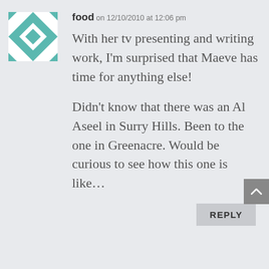[Figure (illustration): Teal and white quilt-pattern avatar icon]
food on 12/10/2010 at 12:06 pm
With her tv presenting and writing work, I'm surprised that Maeve has time for anything else!

Didn't know that there was an Al Aseel in Surry Hills. Been to the one in Greenacre. Would be curious to see how this one is like…
REPLY